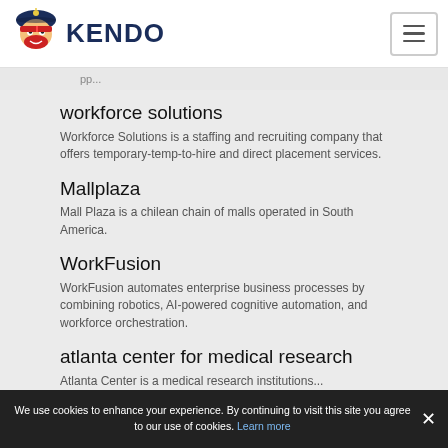KENDO
workforce solutions
Workforce Solutions is a staffing and recruiting company that offers temporary-temp-to-hire and direct placement services.
Mallplaza
Mall Plaza is a chilean chain of malls operated in South America.
WorkFusion
WorkFusion automates enterprise business processes by combining robotics, AI-powered cognitive automation, and workforce orchestration.
atlanta center for medical research
Atlanta Center is a medical research institutions...
We use cookies to enhance your experience. By continuing to visit this site you agree to our use of cookies. Learn more